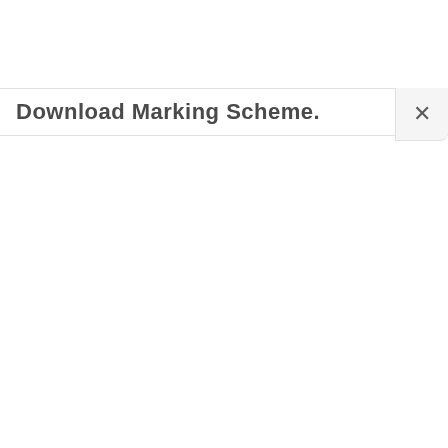Download Marking Scheme.
[Figure (screenshot): Close (X) button in top-right corner of a dialog or toolbar]